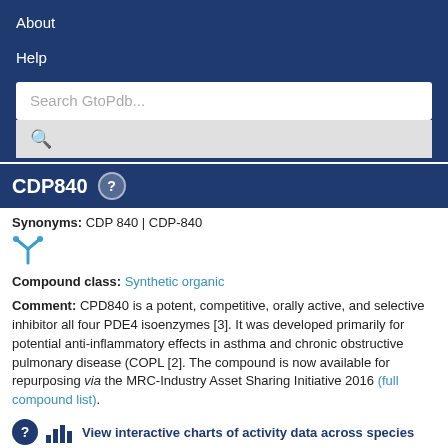About
Help
Search GtoPdb...
CDP840
Synonyms: CDP 840 | CDP-840
Compound class: Synthetic organic
Comment: CPD840 is a potent, competitive, orally active, and selective inhibitor all four PDE4 isoenzymes [3]. It was developed primarily for potential anti-inflammatory effects in asthma and chronic obstructive pulmonary disease (COPD) [2]. The compound is now available for repurposing via the MRC-Industry Asset Sharing Initiative 2016 (full compound list).
View interactive charts of activity data across species